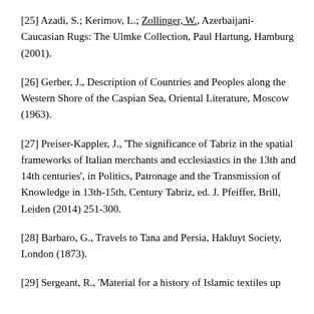[25] Azadi, S.; Kerimov, L.; Zollinger, W., Azerbaijani-Caucasian Rugs: The Ulmke Collection, Paul Hartung, Hamburg (2001).
[26] Gerber, J., Description of Countries and Peoples along the Western Shore of the Caspian Sea, Oriental Literature, Moscow (1963).
[27] Preiser-Kappler, J., 'The significance of Tabriz in the spatial frameworks of Italian merchants and ecclesiastics in the 13th and 14th centuries', in Politics, Patronage and the Transmission of Knowledge in 13th-15th, Century Tabriz, ed. J. Pfeiffer, Brill, Leiden (2014) 251-300.
[28] Barbaro, G., Travels to Tana and Persia, Hakluyt Society, London (1873).
[29] Sergeant, R., 'Material for a history of Islamic textiles up